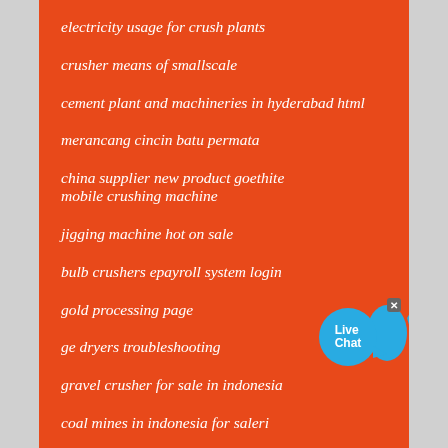electricity usage for crush plants
crusher means of smallscale
cement plant and machineries in hyderabad html
merancang cincin batu permata
china supplier new product goethite mobile crushing machine
jigging machine hot on sale
bulb crushers epayroll system login
gold processing page
ge dryers troubleshooting
gravel crusher for sale in indonesia
coal mines in indonesia for saleri
bentonite counter breaker